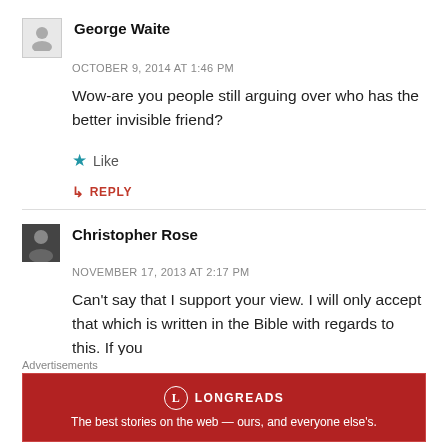George Waite
OCTOBER 9, 2014 AT 1:46 PM
Wow-are you people still arguing over who has the better invisible friend?
Like
REPLY
Christopher Rose
NOVEMBER 17, 2013 AT 2:17 PM
Can't say that I support your view. I will only accept that which is written in the Bible with regards to this. If you wish to discount the words of the Apostle Paul that is
Advertisements
[Figure (other): Longreads advertisement banner: red background with Longreads logo and tagline 'The best stories on the web — ours, and everyone else's.']